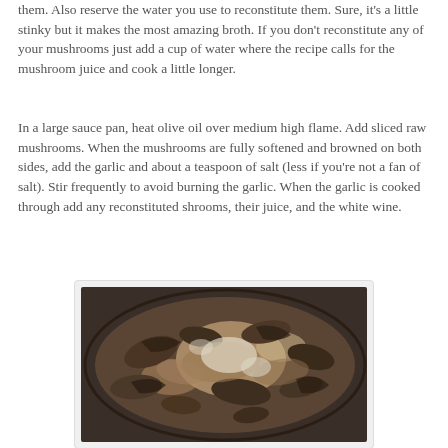them. Also reserve the water you use to reconstitute them. Sure, it's a little stinky but it makes the most amazing broth. If you don't reconstitute any of your mushrooms just add a cup of water where the recipe calls for the mushroom juice and cook a little longer.
In a large sauce pan, heat olive oil over medium high flame. Add sliced raw mushrooms. When the mushrooms are fully softened and browned on both sides, add the garlic and about a teaspoon of salt (less if you're not a fan of salt). Stir frequently to avoid burning the garlic. When the garlic is cooked through add any reconstituted shrooms, their juice, and the white wine.
[Figure (photo): Photo of sliced mushrooms cooking in a pan with liquid, browned and softened, seen from above.]